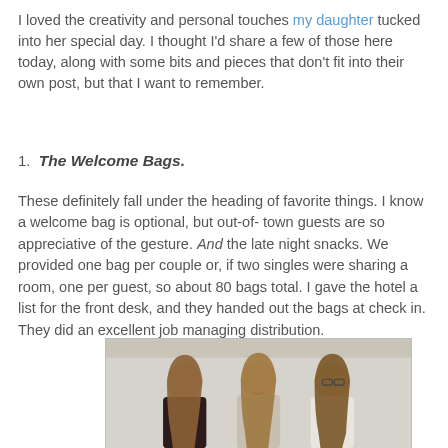I loved the creativity and personal touches my daughter tucked into her special day. I thought I'd share a few of those here today, along with some bits and pieces that don't fit into their own post, but that I want to remember.
1.  The Welcome Bags.
These definitely fall under the heading of favorite things. I know a welcome bag is optional, but out-of- town guests are so appreciative of the gesture. And the late night snacks. We provided one bag per couple or, if two singles were sharing a room, one per guest, so about 80 bags total. I gave the hotel a list for the front desk, and they handed out the bags at check in. They did an excellent job managing distribution.
[Figure (photo): Photo of three young women with long hair smiling, standing together indoors against a light wall.]